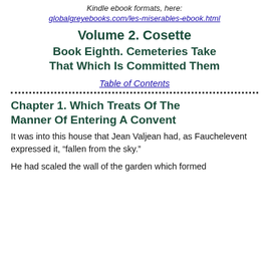Kindle ebook formats, here:
globalgreyebooks.com/les-miserables-ebook.html
Volume 2. Cosette
Book Eighth. Cemeteries Take That Which Is Committed Them
Table of Contents
Chapter 1. Which Treats Of The Manner Of Entering A Convent
It was into this house that Jean Valjean had, as Fauchelevent expressed it, “fallen from the sky.”
He had scaled the wall of the garden which formed